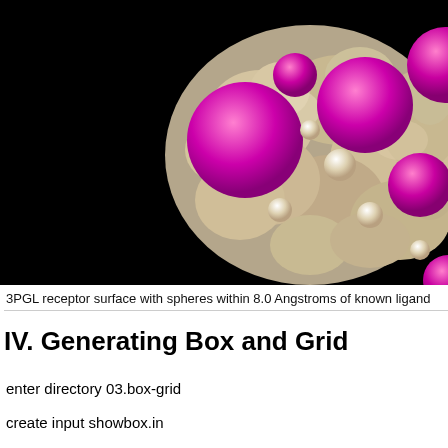[Figure (photo): 3D molecular visualization showing a tan/beige protein receptor surface with multiple magenta/pink spheres representing atoms or binding sites within 8.0 Angstroms of a known ligand, on a black background. The structure is cropped showing upper-right portion.]
3PGL receptor surface with spheres within 8.0 Angstroms of known ligand
IV. Generating Box and Grid
enter directory 03.box-grid
create input showbox.in